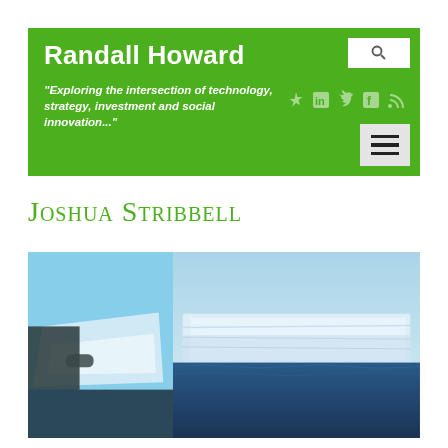Randall Howard — "Exploring the intersection of technology, strategy, investment and social innovation..."
Joshua Stribbell
[Figure (photo): Two side-by-side photos: left shows a person gesturing in front of an iceberg; right shows a large flat-topped iceberg on blue ocean water.]